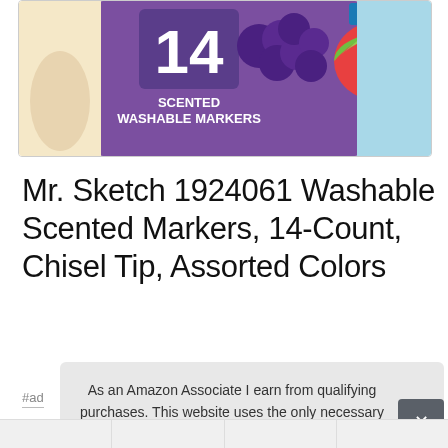[Figure (photo): Partial view of Mr. Sketch 14 Scented Washable Markers box showing grapes and watermelon imagery with 'IMAGINATION!' text, inside a rounded rectangle border]
Mr. Sketch 1924061 Washable Scented Markers, 14-Count, Chisel Tip, Assorted Colors
#ad
As an Amazon Associate I earn from qualifying purchases. This website uses the only necessary cookies to ensure you get the best experience on our website. More information